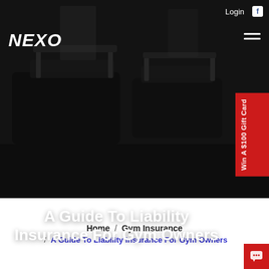[Figure (photo): Dark background photo of gym treadmill equipment in a fitness center, with dark overlay]
Login  f
NEXO
A Guide To Liability Insurance For Gym Owners
Win A $100 Gift Card
Home / Gym Insurance / A Guide To Liability Insurance For Gym Owners